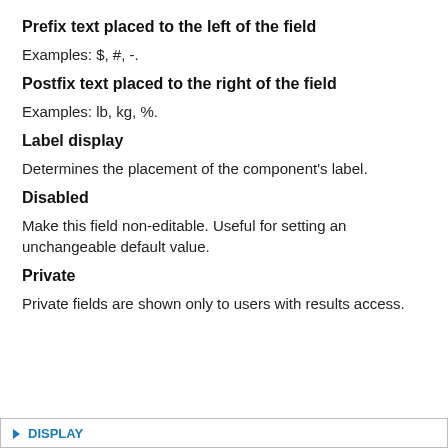Prefix text placed to the left of the field
Examples: $, #, -.
Postfix text placed to the right of the field
Examples: lb, kg, %.
Label display
Determines the placement of the component's label.
Disabled
Make this field non-editable. Useful for setting an unchangeable default value.
Private
Private fields are shown only to users with results access.
▸ DISPLAY